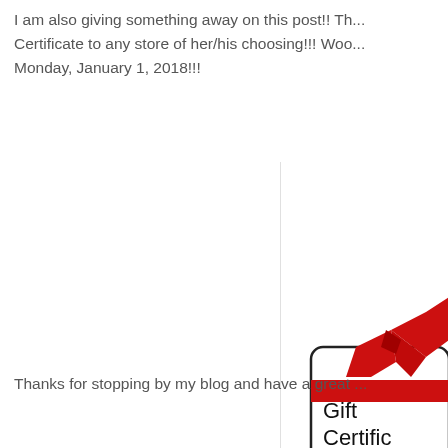I am also giving something away on this post!! Th... Certificate to any store of her/his choosing!!! Woo... Monday, January 1, 2018!!!
[Figure (illustration): A gift certificate image showing a card with a red ribbon and bow, with text 'Gift Certific...' partially visible]
Thanks for stopping by my blog and have a great ...